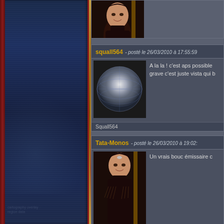[Figure (screenshot): Forum page showing user posts with avatars, dark blue sidebar with decorative elements, posts by various users including squall564 and Tata-Monos]
Vive le homebrew
squall564 - posté le 26/03/2010 à 17:55:59
A la la ! c'est aps possible grave c'est juste vista qui b...
Squall564
Tata-Monos - posté le 26/03/2010 à 19:02:...
Un vrais bouc émissaire c...
Vive le homebrew